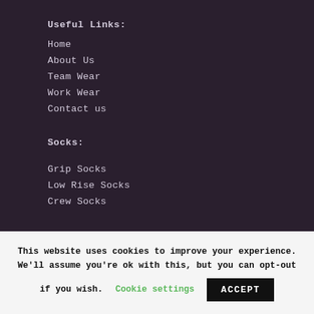Useful Links:
Home
About Us
Team Wear
Work Wear
Contact us
Socks:
Grip Socks
Low Rise Socks
Crew Socks
Hats:
This website uses cookies to improve your experience. We'll assume you're ok with this, but you can opt-out if you wish. Cookie settings ACCEPT